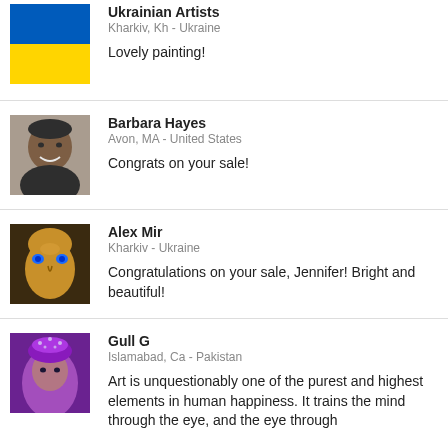[Figure (photo): Ukrainian flag avatar - blue and yellow flag]
Ukrainian Artists
Kharkiv, Kh - Ukraine

Lovely painting!
[Figure (photo): Profile photo of Barbara Hayes - African American woman smiling]
Barbara Hayes
Avon, MA - United States

Congrats on your sale!
[Figure (photo): Profile photo of Alex Mir - golden face with blue eyes digital art]
Alex Mir
Kharkiv - Ukraine

Congratulations on your sale, Jennifer! Bright and beautiful!
[Figure (photo): Profile photo of Gull G - woman with decorative headwear in purple tones]
Gull G
Islamabad, Ca - Pakistan

Art is unquestionably one of the purest and highest elements in human happiness. It trains the mind through the eye, and the eye through